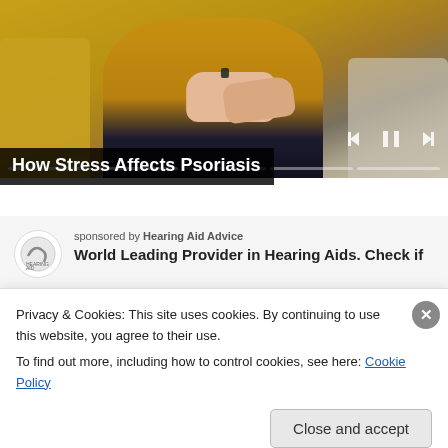[Figure (photo): A person wearing a yellow/mustard sweater sitting on a couch, hands clasped, suggesting stress or discomfort. Yellow and grey cushions in background.]
How Stress Affects Psoriasis
sponsored by Hearing Aid Advice
World Leading Provider in Hearing Aids. Check if
Privacy & Cookies: This site uses cookies. By continuing to use this website, you agree to their use.
To find out more, including how to control cookies, see here: Cookie Policy
Close and accept